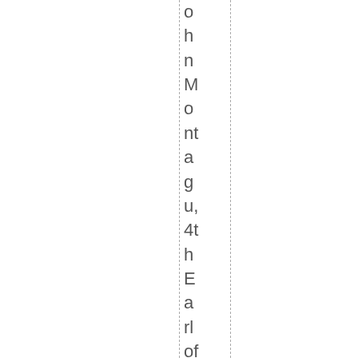ohnMontagu, 4th Earl of Sandwich: “I fa